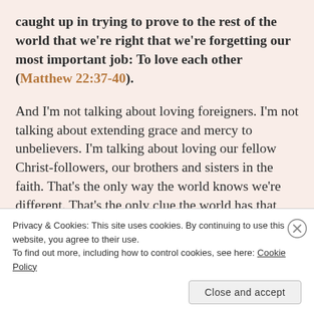caught up in trying to prove to the rest of the world that we're right that we're forgetting our most important job: To love each other (Matthew 22:37-40).
And I'm not talking about loving foreigners. I'm not talking about extending grace and mercy to unbelievers. I'm talking about loving our fellow Christ-followers, our brothers and sisters in the faith. That's the only way the world knows we're different. That's the only clue the world has that God is real (John 13:35). It's how we love each other,
Privacy & Cookies: This site uses cookies. By continuing to use this website, you agree to their use.
To find out more, including how to control cookies, see here: Cookie Policy
Close and accept